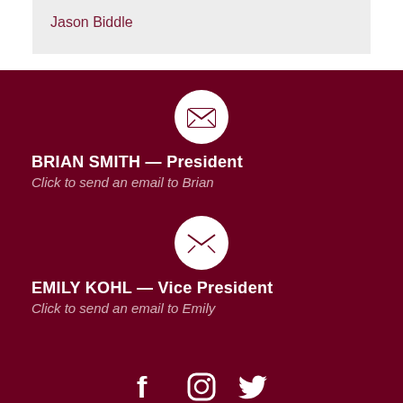Jason Biddle
[Figure (illustration): White envelope/email icon inside white circle on dark red background]
BRIAN SMITH — President
Click to send an email to Brian
[Figure (illustration): White envelope/email icon inside white circle on dark red background]
EMILY KOHL — Vice President
Click to send an email to Emily
[Figure (illustration): Social media icons: Facebook, Instagram, Twitter in white on dark red background]